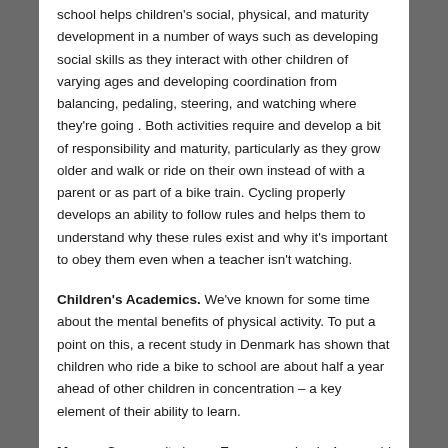school helps children's social, physical, and maturity development in a number of ways such as developing social skills as they interact with other children of varying ages and developing coordination from balancing, pedaling, steering, and watching where they're going . Both activities require and develop a bit of responsibility and maturity, particularly as they grow older and walk or ride on their own instead of with a parent or as part of a bike train. Cycling properly develops an ability to follow rules and helps them to understand why these rules exist and why it's important to obey them even when a teacher isn't watching.
Children's Academics. We've known for some time about the mental benefits of physical activity. To put a point on this, a recent study in Denmark has shown that children who ride a bike to school are about half a year ahead of other children in concentration – a key element of their ability to learn.
Money. Cars aren't cheap. Even a very basic 4-year-old Chevy Cobalt that you pay $10,000 to purchase will cost